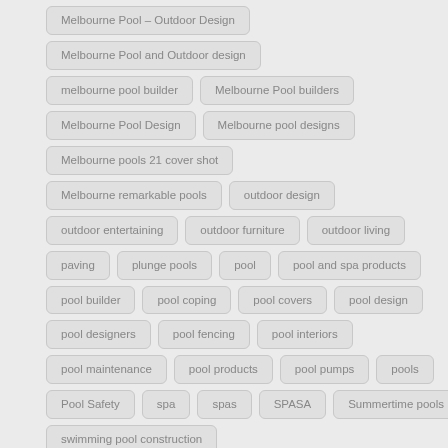Melbourne Pool – Outdoor Design
Melbourne Pool and Outdoor design
melbourne pool builder
Melbourne Pool builders
Melbourne Pool Design
Melbourne pool designs
Melbourne pools 21 cover shot
Melbourne remarkable pools
outdoor design
outdoor entertaining
outdoor furniture
outdoor living
paving
plunge pools
pool
pool and spa products
pool builder
pool coping
pool covers
pool design
pool designers
pool fencing
pool interiors
pool maintenance
pool products
pool pumps
pools
Pool Safety
spa
spas
SPASA
Summertime pools
swimming pool construction